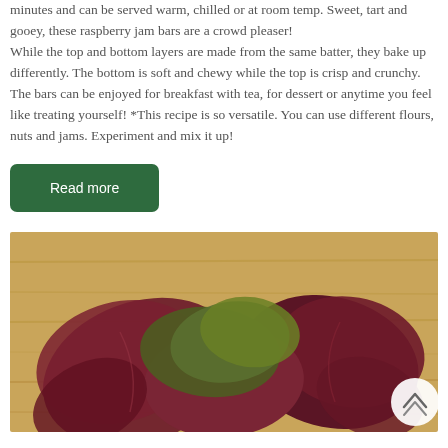minutes and can be served warm, chilled or at room temp. Sweet, tart and gooey, these raspberry jam bars are a crowd pleaser! While the top and bottom layers are made from the same batter, they bake up differently. The bottom is soft and chewy while the top is crisp and crunchy. The bars can be enjoyed for breakfast with tea, for dessert or anytime you feel like treating yourself! *This recipe is so versatile. You can use different flours, nuts and jams. Experiment and mix it up!
Read more
[Figure (photo): A photo of a salad with red/purple radicchio leaves and green lettuce on a wooden surface background, with a white circular scroll-to-top button in the bottom right corner.]